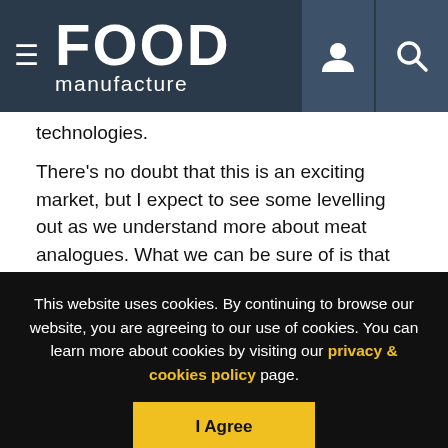FOOD manufacture
technologies.
There's no doubt that this is an exciting market, but I expect to see some levelling out as we understand more about meat analogues. What we can be sure of is that both plant-based foods and meat products will remain, and frozen food will certainly be a growing area of exploration for both.
Copyright - Unless otherwise stated all contents of this web site are ©
This website uses cookies. By continuing to browse our website, you are agreeing to our use of cookies. You can learn more about cookies by visiting our privacy & cookies policy page.
I Agree